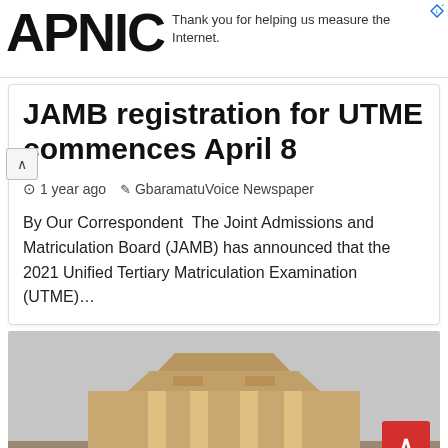APNIC — Thank you for helping us measure the Internet.
JAMB registration for UTME commences April 8
1 year ago   GbaramatuVoice Newspaper
By Our Correspondent  The Joint Admissions and Matriculation Board (JAMB) has announced that the 2021 Unified Tertiary Matriculation Examination (UTME)…
[Figure (photo): Exterior photo of a building, likely a university or examination centre, with a tan/brown facade against a grey sky.]